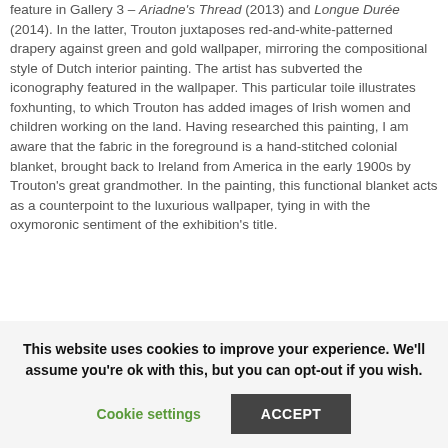feature in Gallery 3 – Ariadne's Thread (2013) and Longue Durée (2014). In the latter, Trouton juxtaposes red-and-white-patterned drapery against green and gold wallpaper, mirroring the compositional style of Dutch interior painting. The artist has subverted the iconography featured in the wallpaper. This particular toile illustrates foxhunting, to which Trouton has added images of Irish women and children working on the land. Having researched this painting, I am aware that the fabric in the foreground is a hand-stitched colonial blanket, brought back to Ireland from America in the early 1900s by Trouton's great grandmother. In the painting, this functional blanket acts as a counterpoint to the luxurious wallpaper, tying in with the oxymoronic sentiment of the exhibition's title.
This website uses cookies to improve your experience. We'll assume you're ok with this, but you can opt-out if you wish.